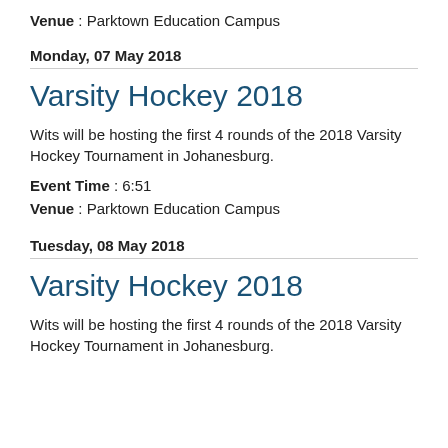Venue : Parktown Education Campus
Monday, 07 May 2018
Varsity Hockey 2018
Wits will be hosting the first 4 rounds of the 2018 Varsity Hockey Tournament in Johanesburg.
Event Time : 6:51
Venue : Parktown Education Campus
Tuesday, 08 May 2018
Varsity Hockey 2018
Wits will be hosting the first 4 rounds of the 2018 Varsity Hockey Tournament in Johanesburg.